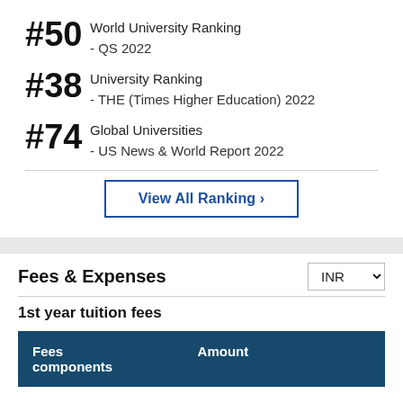#50 World University Ranking - QS 2022
#38 University Ranking - THE (Times Higher Education) 2022
#74 Global Universities - US News & World Report 2022
View All Ranking ›
Fees & Expenses
1st year tuition fees
| Fees components | Amount |
| --- | --- |